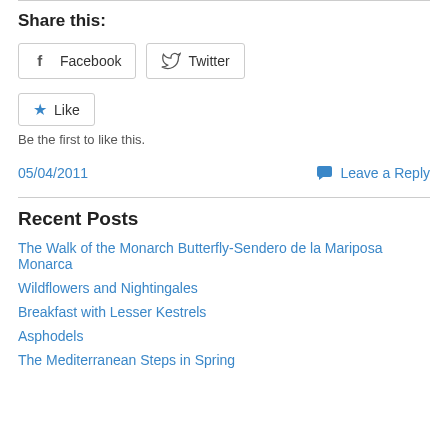Share this:
Facebook  Twitter
Like
Be the first to like this.
05/04/2011   Leave a Reply
Recent Posts
The Walk of the Monarch Butterfly-Sendero de la Mariposa Monarca
Wildflowers and Nightingales
Breakfast with Lesser Kestrels
Asphodels
The Mediterranean Steps in Spring